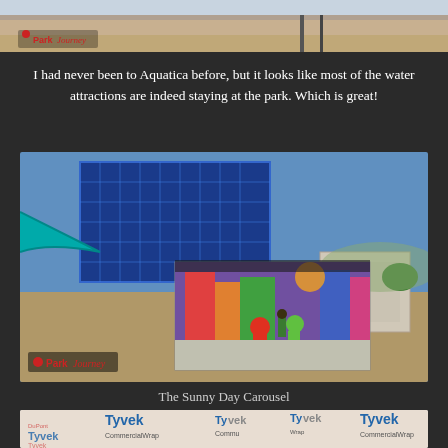[Figure (photo): Top partial photo showing sandy/rocky ground with ParkJourney logo in lower left corner]
I had never been to Aquatica before, but it looks like most of the water attractions are indeed staying at the park. Which is great!
[Figure (photo): Large construction/park photo showing a blue pyramid-like structure with water slides, an inset rendering of Sesame Street themed area with Elmo and other characters, sandy ground, and ParkJourney logo in lower left]
The Sunny Day Carousel
[Figure (photo): Bottom partial photo showing Tyvek CommercialWrap construction wrap material repeated across the image]